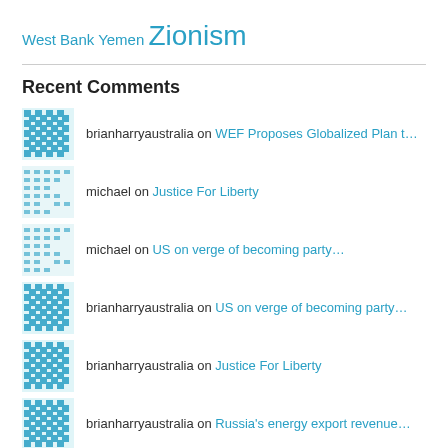West Bank Yemen Zionism
Recent Comments
brianharryaustralia on WEF Proposes Globalized Plan t…
michael on Justice For Liberty
michael on US on verge of becoming party…
brianharryaustralia on US on verge of becoming party…
brianharryaustralia on Justice For Liberty
brianharryaustralia on Russia's energy export revenue…
brianharryaustralia on Venezuela Stops Oil Shipments…
Bob on Russian gas transit to EU via…